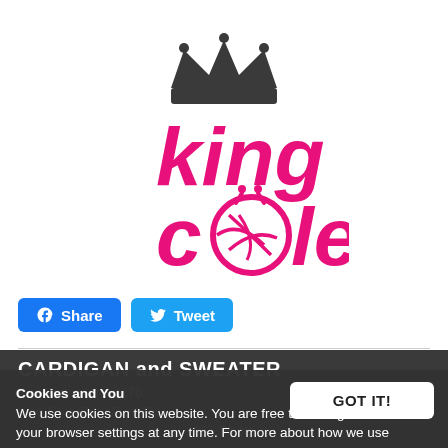[Figure (logo): King Cole yarn company logo with crown above text 'king cole' in hot pink with a yarn ball replacing the 'o' in cole]
Share (Facebook button)
Tweet (Twitter button)
CARDIGAN and SWEATER
Knit Pattern No. 3170
King Cole Baby Pure DK
36 - 56 cm
Cookies and You
We use cookies on this website. You are free to manage these via your browser settings at any time. For more about how we use cookies, please see our Privacy Policy.